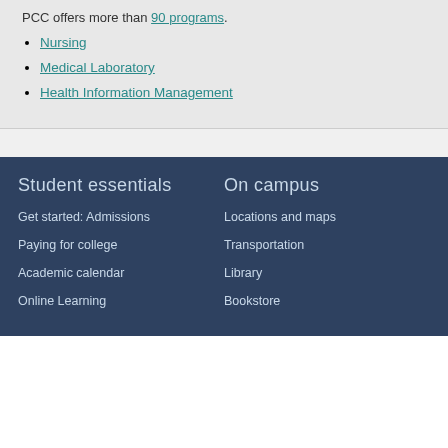PCC offers more than 90 programs.
Nursing
Medical Laboratory
Health Information Management
Student essentials
On campus
Get started: Admissions
Locations and maps
Paying for college
Transportation
Academic calendar
Library
Online Learning
Bookstore